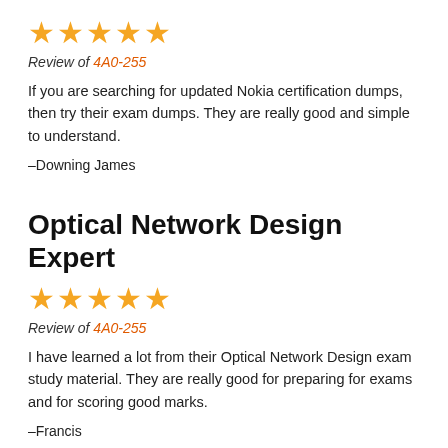[Figure (other): Five gold stars rating]
Review of 4A0-255
If you are searching for updated Nokia certification dumps, then try their exam dumps. They are really good and simple to understand.
–Downing James
Optical Network Design Expert
[Figure (other): Five gold stars rating]
Review of 4A0-255
I have learned a lot from their Optical Network Design exam study material. They are really good for preparing for exams and for scoring good marks.
–Francis